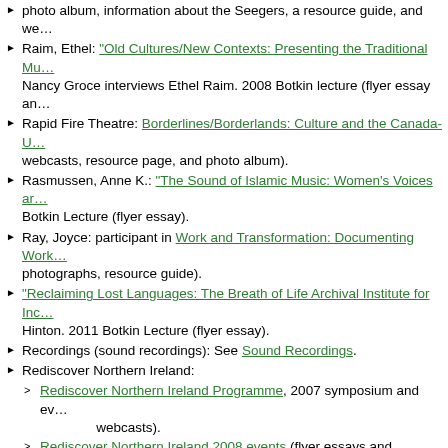photo album, information about the Seegers, a resource guide, and we…
Raim, Ethel: "Old Cultures/New Contexts: Presenting the Traditional Mu… Nancy Groce interviews Ethel Raim. 2008 Botkin lecture (flyer essay an…
Rapid Fire Theatre: Borderlines/Borderlands: Culture and the Canada-U… webcasts, resource page, and photo album).
Rasmussen, Anne K.: "The Sound of Islamic Music: Women's Voices ar… Botkin Lecture (flyer essay).
Ray, Joyce: participant in Work and Transformation: Documenting Work… photographs, resource guide).
"Reclaiming Lost Languages: The Breath of Life Archival Institute for Inc… Hinton. 2011 Botkin Lecture (flyer essay).
Recordings (sound recordings): See Sound Recordings.
Rediscover Northern Ireland:
Rediscover Northern Ireland Programme, 2007 symposium and ev… webcasts).
Rediscover Northern Ireland 2008 events (flyer essays and webca…
Reed, Henry: Fiddle Tunes of the Old Frontier: The Henry Reed Collect… audio).
Rein, David: presenter at The Stations That Spoke Your Language: Rad… 2012 symposium.
Religion, Religious Music: See Belief and Religion.
Reference: Collections and Research Services: The Archive of Folk Cu…
Remsberg, Rich:
Art Culture and Government: The New Deal at 75, participant in th… photo album, and webcasts).
"Hard Luck Blues: Roots Music Photographs from the Great Depre… Lecture (webcast).